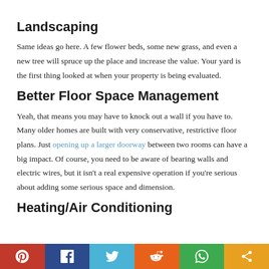Landscaping
Same ideas go here. A few flower beds, some new grass, and even a new tree will spruce up the place and increase the value. Your yard is the first thing looked at when your property is being evaluated.
Better Floor Space Management
Yeah, that means you may have to knock out a wall if you have to. Many older homes are built with very conservative, restrictive floor plans. Just opening up a larger doorway between two rooms can have a big impact. Of course, you need to be aware of bearing walls and electric wires, but it isn't a real expensive operation if you're serious about adding some serious space and dimension.
Heating/Air Conditioning